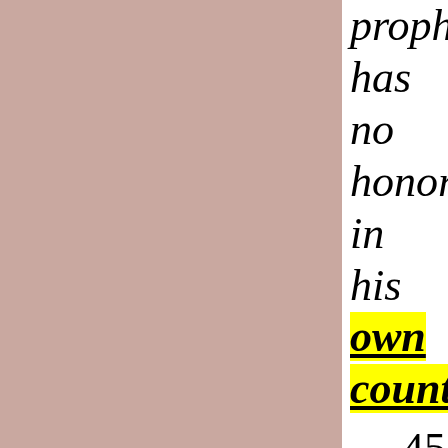prophet has no honor in his own country. 45 Then when he had come into
own country